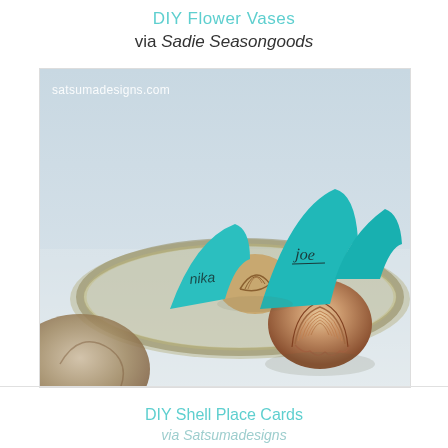DIY Flower Vases
via Sadie Seasongoods
[Figure (photo): Photo of shark fin shaped teal paper place cards inserted into seashells on a plate, with names written on them (Joe, Nika). Watermark reads satsumadesigns.com]
DIY Shell Place Cards
via Satsumadesigns